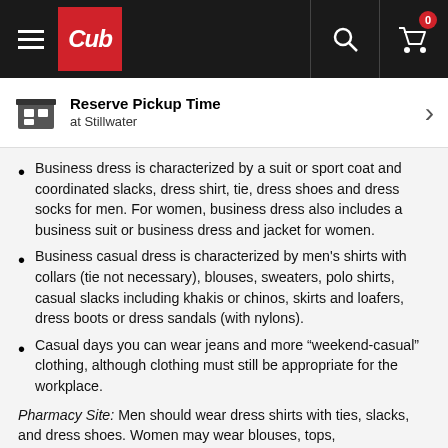Cub — navigation bar with hamburger menu, Cub logo, search icon, and cart (0)
Reserve Pickup Time at Stillwater
Business dress is characterized by a suit or sport coat and coordinated slacks, dress shirt, tie, dress shoes and dress socks for men. For women, business dress also includes a business suit or business dress and jacket for women.
Business casual dress is characterized by men's shirts with collars (tie not necessary), blouses, sweaters, polo shirts, casual slacks including khakis or chinos, skirts and loafers, dress boots or dress sandals (with nylons).
Casual days you can wear jeans and more “weekend-casual” clothing, although clothing must still be appropriate for the workplace.
Pharmacy Site: Men should wear dress shirts with ties, slacks, and dress shoes. Women may wear blouses, tops,